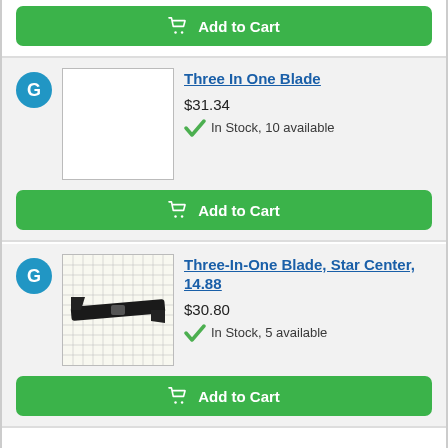[Figure (other): Add to Cart button (green) at top of page]
[Figure (other): Product listing: Three In One Blade. Blue G badge, blank white product image placeholder. Price $31.34, In Stock 10 available, Add to Cart button.]
Three In One Blade
$31.34
In Stock, 10 available
[Figure (other): Product listing: Three-In-One Blade, Star Center, 14.88. Blue G badge, product photo of a mower blade on grid background. Price $30.80, In Stock 5 available, Add to Cart button.]
Three-In-One Blade, Star Center, 14.88
$30.80
In Stock, 5 available